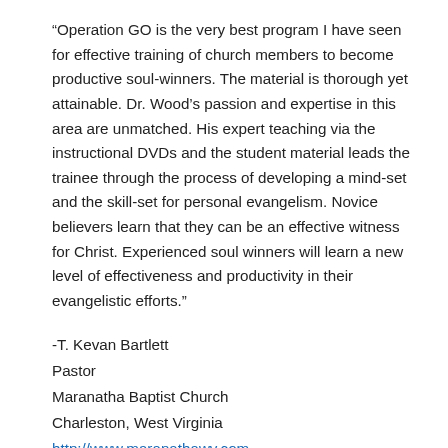“Operation GO is the very best program I have seen for effective training of church members to become productive soul-winners. The material is thorough yet attainable. Dr. Wood’s passion and expertise in this area are unmatched. His expert teaching via the instructional DVDs and the student material leads the trainee through the process of developing a mind-set and the skill-set for personal evangelism. Novice believers learn that they can be an effective witness for Christ. Experienced soul winners will learn a new level of effectiveness and productivity in their evangelistic efforts.”
-T. Kevan Bartlett
Pastor
Maranatha Baptist Church
Charleston, West Virginia
http://www.maranathawv.com
304-984-9514